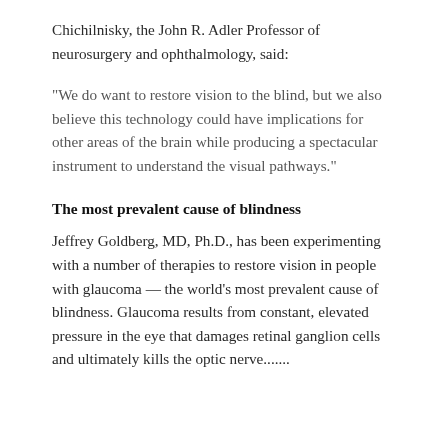Chichilnisky, the John R. Adler Professor of neurosurgery and ophthalmology, said:
“We do want to restore vision to the blind, but we also believe this technology could have implications for other areas of the brain while producing a spectacular instrument to understand the visual pathways.”
The most prevalent cause of blindness
Jeffrey Goldberg, MD, Ph.D., has been experimenting with a number of therapies to restore vision in people with glaucoma — the world’s most prevalent cause of blindness. Glaucoma results from constant, elevated pressure in the eye that damages retinal ganglion cells and ultimately kills the optic nerve.......